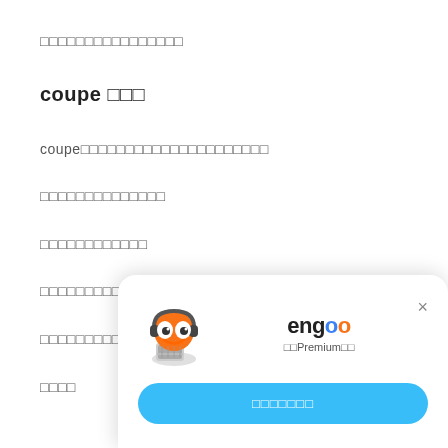□□□□□□□□□□□□□□□□
coupe □□□
coupe□□□□□□□□□□□□□□□□□□□□□
□□□□□□□□□□□□□□
□□□□□□□□□□□□
□□□□□□□□□□coupe□□□□□
□□□□□□□□□□□□□□□
□□□□
[Figure (illustration): Engoo Premium popup with orange mascot character wearing headphones, engoo logo with blue and orange o letters, Premium text, and blue CTA button with Japanese text]